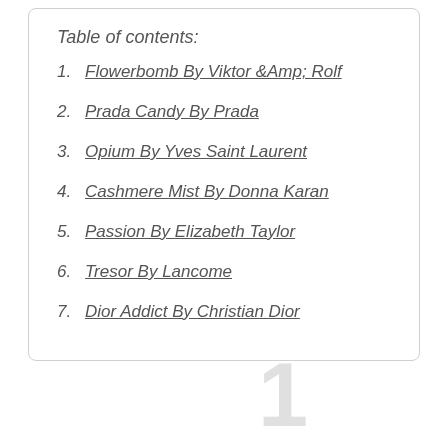Table of contents:
1. Flowerbomb By Viktor &Amp; Rolf
2. Prada Candy By Prada
3. Opium By Yves Saint Laurent
4. Cashmere Mist By Donna Karan
5. Passion By Elizabeth Taylor
6. Tresor By Lancome
7. Dior Addict By Christian Dior
1